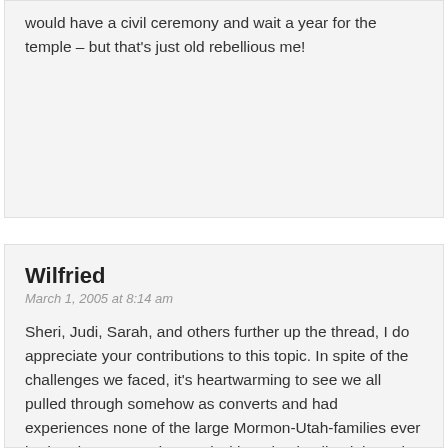would have a civil ceremony and wait a year for the temple – but that's just old rebellious me!
Wilfried
March 1, 2005 at 8:14 am
Sheri, Judi, Sarah, and others further up the thread, I do appreciate your contributions to this topic. In spite of the challenges we faced, it's heartwarming to see we all pulled through somehow as converts and had experiences none of the large Mormon-Utah-families ever had and cannot understand without having lived through it. The topic, as I have mentioned, brought back our own memories, as my wife and I were married without any of our families present. But we still love the Gospel and remain immensely grateful for our